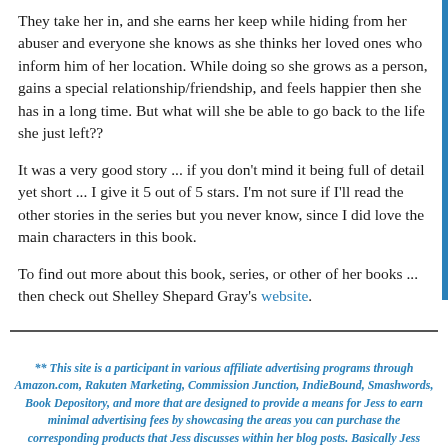They take her in, and she earns her keep while hiding from her abuser and everyone she knows as she thinks her loved ones who inform him of her location. While doing so she grows as a person, gains a special relationship/friendship, and feels happier then she has in a long time. But what will she be able to go back to the life she just left??
It was a very good story ... if you don't mind it being full of detail yet short ... I give it 5 out of 5 stars. I'm not sure if I'll read the other stories in the series but you never know, since I did love the main characters in this book.
To find out more about this book, series, or other of her books ... then check out Shelley Shepard Gray's website.
** This site is a participant in various affiliate advertising programs through Amazon.com, Rakuten Marketing, Commission Junction, IndieBound, Smashwords, Book Depository, and more that are designed to provide a means for Jess to earn minimal advertising fees by showcasing the areas you can purchase the corresponding products that Jess discusses within her blog posts. Basically Jess earns from qualifying purchases.